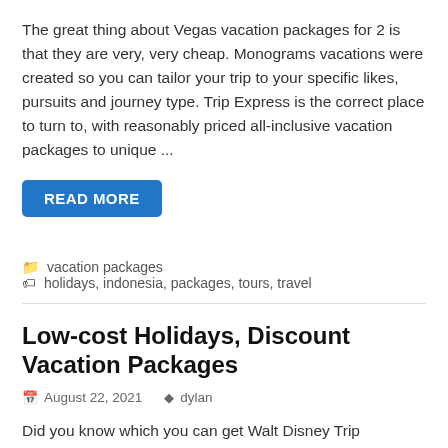The great thing about Vegas vacation packages for 2 is that they are very, very cheap. Monograms vacations were created so you can tailor your trip to your specific likes, pursuits and journey type. Trip Express is the correct place to turn to, with reasonably priced all-inclusive vacation packages to unique ...
READ MORE
vacation packages   holidays, indonesia, packages, tours, travel
Low-cost Holidays, Discount Vacation Packages
August 22, 2021   dylan
Did you know which you can get Walt Disney Trip packages that can prevent hundreds? Finest Function for Families: After you have found a vacation spot and resort property that look attention-grabbing, you'll be able to see the per-particular